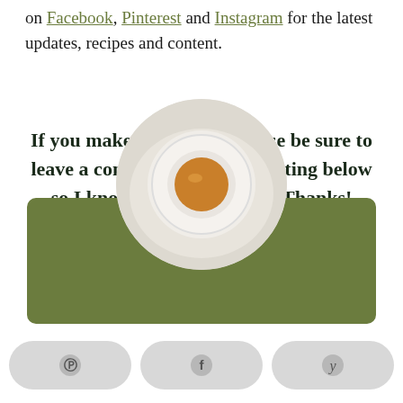on Facebook, Pinterest and Instagram for the latest updates, recipes and content.
If you make this recipe, please be sure to leave a comment and a star rating below so I know how you liked it. Thanks! Enjoy!
[Figure (photo): Overhead view of a small white ceramic dish with a jar of sauce/liquid, displayed on a white marble surface, shown in a circular crop over a green banner background.]
[Figure (infographic): Share buttons bar at the bottom with Pinterest, Facebook, and Yummly icons on light gray rounded rectangle buttons.]